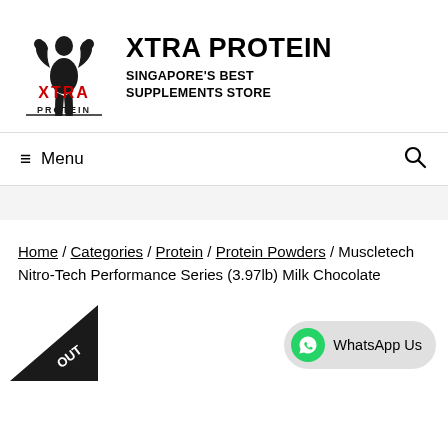[Figure (logo): Xtra Protein logo: muscular figure flexing with XTRA in red and PROTEIN in black text below]
XTRA PROTEIN
SINGAPORE'S BEST SUPPLEMENTS STORE
≡ Menu
Home / Categories / Protein / Protein Powders / Muscletech Nitro-Tech Performance Series (3.97lb) Milk Chocolate
[Figure (illustration): Sold Out diagonal banner in bottom left corner]
[Figure (other): WhatsApp Us button with green WhatsApp circle icon]